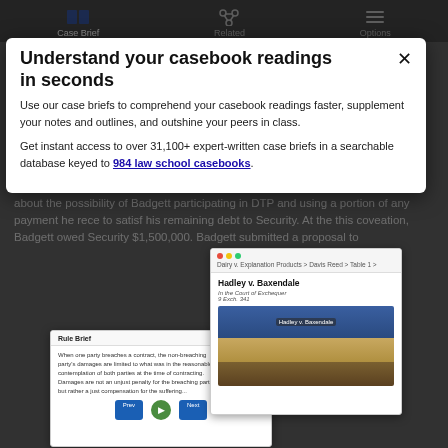Case Brief | Related | Options
Facts
In 1981, Badgett (plaintiff) received a loan from Security S... (text partially obscured by modal)
Understand your casebook readings in seconds
Use our case briefs to comprehend your casebook readings faster, supplement your notes and outlines, and outshine your peers in class.
Get instant access to over 31,100+ expert-written case briefs in a searchable database keyed to 984 law school casebooks.
[Figure (screenshot): Thumbnail screenshot of Hadley v. Baxendale case brief page]
[Figure (screenshot): Thumbnail screenshot of Rule Brief popup with case text]